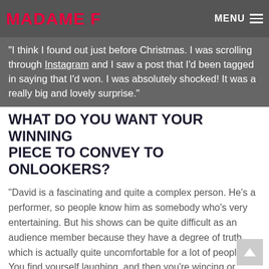MADAME F | MENU
“I think I found out just before Christmas. I was scrolling through Instagram and I saw a post that I’d been tagged in saying that I’d won. I was absolutely shocked! It was a really big and lovely surprise.”
WHAT DO YOU WANT YOUR WINNING PIECE TO CONVEY TO ONLOOKERS?
“David is a fascinating and quite a complex person. He’s a performer, so people know him as somebody who’s very entertaining. But his shows can be quite difficult as an audience member because they have a degree of truth which is actually quite uncomfortable for a lot of people. You find yourself laughing, and then you’re wincing or recoiling almost within one sentence.
“One of the things that he always says in his shows is “If makeup makes you more beautiful, then the more makeup you